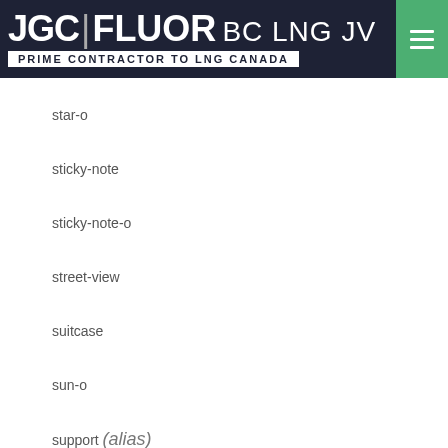JGC|FLUOR BC LNG JV — PRIME CONTRACTOR TO LNG CANADA
star-o
sticky-note
sticky-note-o
street-view
suitcase
sun-o
support (alias)
tablet
tachometer
tag
tags
tasks